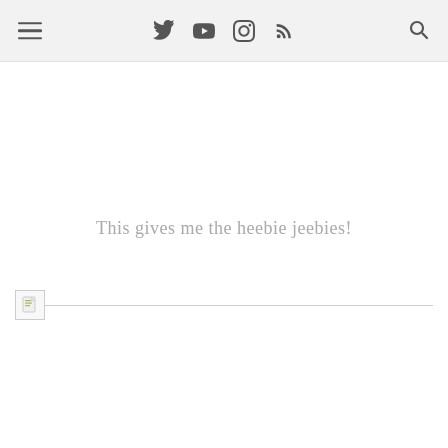Navigation bar with hamburger menu, social icons (Twitter, YouTube, Instagram, RSS), and search icon
This gives me the heebie jeebies!
[Figure (other): Broken image placeholder with a small document icon and a horizontal dividing line extending to the right]